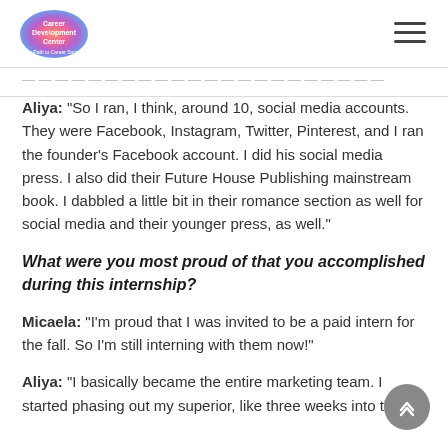Career Development Center
Aliya: "So I ran, I think, around 10, social media accounts. They were Facebook, Instagram, Twitter, Pinterest, and I ran the founder's Facebook account. I did his social media press. I also did their Future House Publishing mainstream book. I dabbled a little bit in their romance section as well for social media and their younger press, as well."
What were you most proud of that you accomplished during this internship?
Micaela: "I'm proud that I was invited to be a paid intern for the fall. So I'm still interning with them now!"
Aliya: "I basically became the entire marketing team. I started phasing out my superior, like three weeks into the